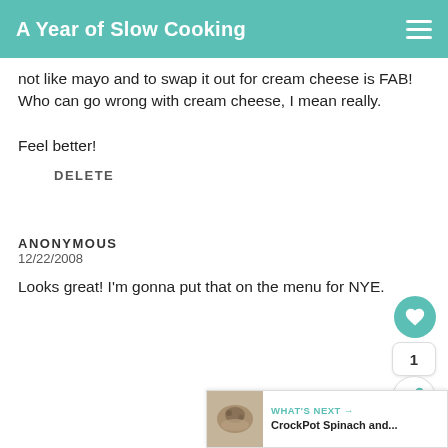A Year of Slow Cooking
not like mayo and to swap it out for cream cheese is FAB! Who can go wrong with cream cheese, I mean really.

Feel better!
DELETE
ANONYMOUS
12/22/2008
Looks great! I'm gonna put that on the menu for NYE.